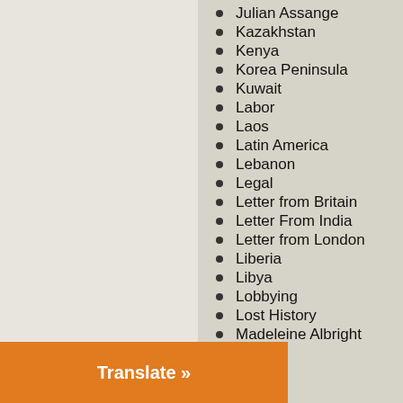Julian Assange
Kazakhstan
Kenya
Korea Peninsula
Kuwait
Labor
Laos
Latin America
Lebanon
Legal
Letter from Britain
Letter From India
Letter from London
Liberia
Libya
Lobbying
Lost History
Madeleine Albright
Mali